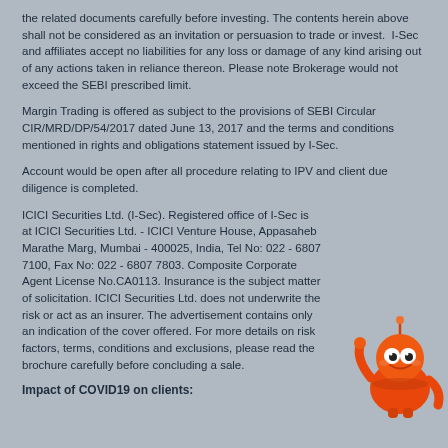the related documents carefully before investing. The contents herein above shall not be considered as an invitation or persuasion to trade or invest.  I-Sec and affiliates accept no liabilities for any loss or damage of any kind arising out of any actions taken in reliance thereon. Please note Brokerage would not exceed the SEBI prescribed limit.
Margin Trading is offered as subject to the provisions of SEBI Circular CIR/MRD/DP/54/2017 dated June 13, 2017 and the terms and conditions mentioned in rights and obligations statement issued by I-Sec.
Account would be open after all procedure relating to IPV and client due diligence is completed.
ICICI Securities Ltd. (I-Sec). Registered office of I-Sec is at ICICI Securities Ltd. - ICICI Venture House, Appasaheb Marathe Marg, Mumbai - 400025, India, Tel No: 022 - 6807 7100, Fax No: 022 - 6807 7803. Composite Corporate Agent License No.CA0113. Insurance is the subject matter of solicitation. ICICI Securities Ltd. does not underwrite the risk or act as an insurer. The advertisement contains only an indication of the cover offered. For more details on risk factors, terms, conditions and exclusions, please read the sales brochure carefully before concluding a sale.
[Figure (illustration): Orange cartoon robot mascot character pointing upward]
Impact of COVID19 on clients: